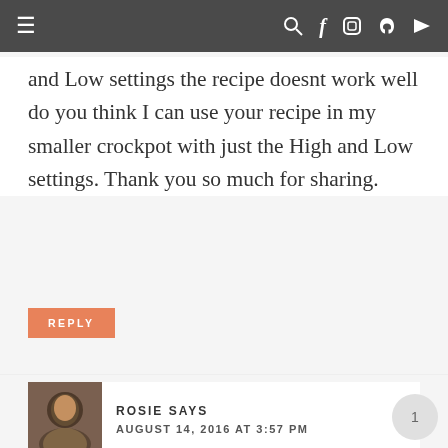Navigation bar with hamburger menu and social icons
and Low settings the recipe doesnt work well do you think I can use your recipe in my smaller crockpot with just the High and Low settings. Thank you so much for sharing.
REPLY
ROSIE SAYS
AUGUST 14, 2016 AT 3:57 PM
You can added Gruyere if you'd like. I don't know the size of your Crock-Pot is so I can't advise you on that.